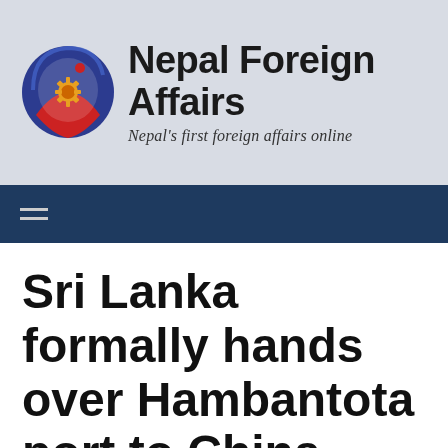[Figure (logo): Nepal Foreign Affairs logo with circular emblem featuring blue and red swoosh design with a gear/sun symbol, alongside bold text 'Nepal Foreign Affairs' and italic tagline 'Nepal's first foreign affairs online']
Nepal Foreign Affairs — Nepal's first foreign affairs online
Sri Lanka formally hands over Hambantota port to China